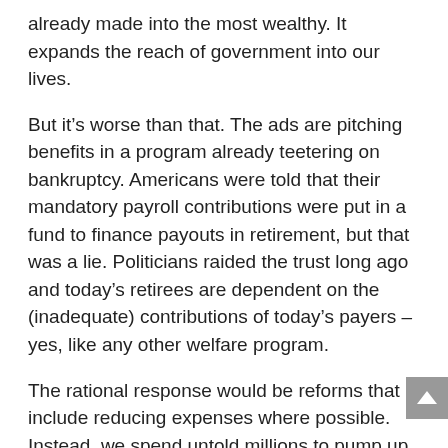already made into the most wealthy. It expands the reach of government into our lives.
But it’s worse than that. The ads are pitching benefits in a program already teetering on bankruptcy. Americans were told that their mandatory payroll contributions were put in a fund to finance payouts in retirement, but that was a lie. Politicians raided the trust long ago and today’s retirees are dependent on the (inadequate) contributions of today’s payers – yes, like any other welfare program.
The rational response would be reforms that include reducing expenses where possible. Instead, we spend untold millions to pump up program outlays. Not smart. Consequences to follow.
But screeching Medicare ads aren’t the only government initiative which, partisan disagreements